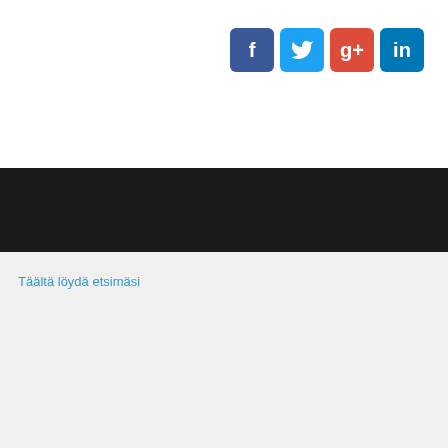[Figure (screenshot): Social media share buttons: Facebook (blue), Twitter (light blue), Google+ (red), LinkedIn (blue)]
Täältä löydä etsimäsi